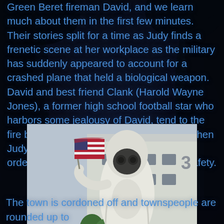Green Beret fireman David, and we learn much about them in the first few minutes. Their stories split for a time as Judy finds a frenetic scene at her workplace as the military has suddenly appeared to account for a crashed plane that held a biological weapon. David and best friend Clank (Harold Wayne Jones), a former high school football star who harbors some jealousy of David, tend to the fire but soon find themselves on the run when Judy makes a break from the hospital on orders from her boss, who fears for her safety.
[Figure (photo): A person wearing a white hazmat suit and gas mask stands outdoors near green shrubs, holding what appears to be an American flag. A white building with windows is visible in the background. The scene suggests a biological hazard response scenario.]
The town is cordoned off and townspeople are rounded up to